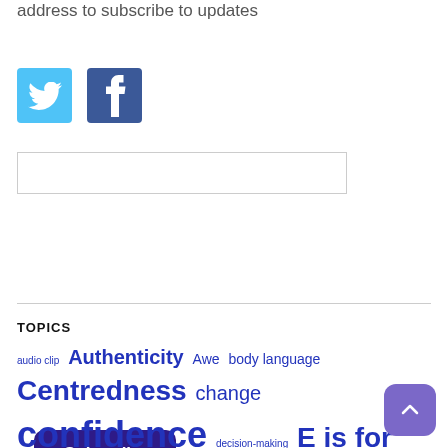Follow on social media or enter your email address to subscribe to updates
[Figure (illustration): Twitter bird icon (light blue square) and Facebook F icon (dark blue square)]
[Figure (other): Email subscription text input field]
[Figure (other): Subscribe button, dark purple with rounded corners]
TOPICS
audio clip Authenticity Awe body language Centredness change confidence decision-making E is for Exceptional emotional intelligence emotions Financial Times goals happiness How To Stand Out How To Win I is for Influence influence interviews introvert job hunting